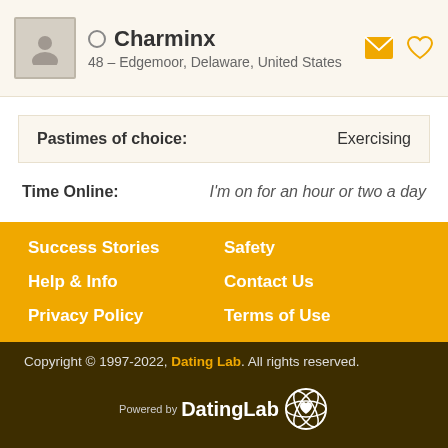Charminx
48 – Edgemoor, Delaware, United States
Pastimes of choice: Exercising
Time Online: I'm on for an hour or two a day
Success Stories
Safety
Help & Info
Contact Us
Privacy Policy
Terms of Use
Copyright © 1997-2022, Dating Lab. All rights reserved.
Powered by DatingLab